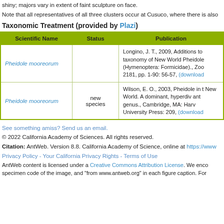shiny; majors vary in extent of faint sculpture on face.
Note that all representatives of all three clusters occur at Cusuco, where there is also
Taxonomic Treatment (provided by Plazi)
| Scientific Name | Status | Publication |
| --- | --- | --- |
| Pheidole mooreorum |  | Longino, J. T., 2009, Additions to the taxonomy of New World Pheidole (Hymenoptera: Formicidae)., Zootaxa 2181, pp. 1-90: 56-57, (download) |
| Pheidole mooreorum | new species | Wilson, E. O., 2003, Pheidole in the New World. A dominant, hyperdiverse ant genus., Cambridge, MA: Harvard University Press: 209, (download) |
See something amiss? Send us an email.
© 2022 California Academy of Sciences. All rights reserved.
Citation: AntWeb. Version 8.8. California Academy of Science, online at https://www
Privacy Policy - Your California Privacy Rights - Terms of Use
AntWeb content is licensed under a Creative Commons Attribution License. We encourage specimen code of the image, and "from www.antweb.org" in each figure caption. For